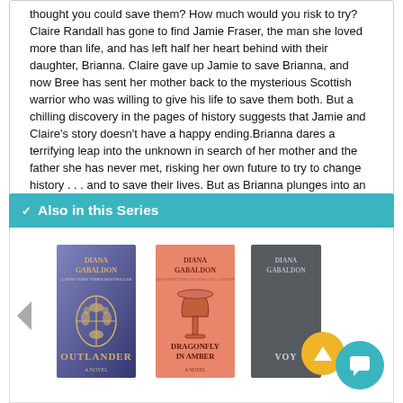thought you could save them? How much would you risk to try? Claire Randall has gone to find Jamie Fraser, the man she loved more than life, and has left half her heart behind with their daughter, Brianna. Claire gave up Jamie to save Brianna, and now Bree has sent her mother back to the mysterious Scottish warrior who was willing to give his life to save them both. But a chilling discovery in the pages of history suggests that Jamie and Claire's story doesn't have a happy ending.Brianna dares a terrifying leap into the unknown in search of her mother and the father she has never met, risking her own future to try to change history . . . and to save their lives. But as Brianna plunges into an uncharted wilderness, a heartbreaking encounter may strand her forever in the past . . . or root her in the place she should be, where her heart and soul belong.
Also in this Series
[Figure (illustration): Three book covers shown side by side for the Outlander series by Diana Gabaldon: 'Outlander' (blue/purple cover with golden floral motif), 'Dragonfly in Amber' (salmon/pink cover with chalice), and 'Voyager' (dark grey, partially visible). A left navigation arrow is shown. A yellow circular scroll-up button and a teal circular chat button are overlaid at bottom right.]